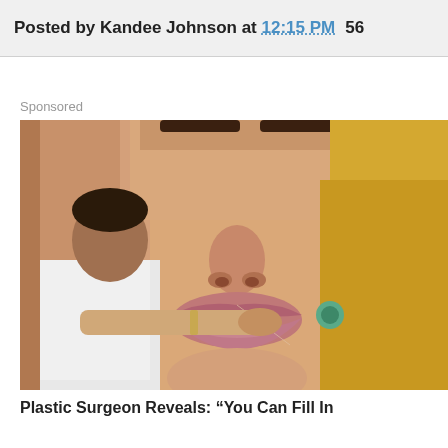Posted by Kandee Johnson at 12:15 PM  56
Sponsored
[Figure (photo): Close-up photo of a woman's face with full lips, blonde hair, and teal earring. A man in white clothing is visible on the left side, appearing to perform a cosmetic procedure near her lip area.]
Plastic Surgeon Reveals: "You Can Fill In